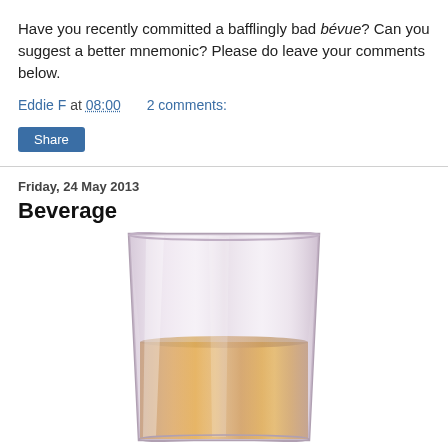Have you recently committed a bafflingly bad bévue? Can you suggest a better mnemonic? Please do leave your comments below.
Eddie F at 08:00   2 comments:
Share
Friday, 24 May 2013
Beverage
[Figure (photo): A glass tumbler with a purple/lavender tint containing an amber/orange liquid, viewed from the side against a white background.]